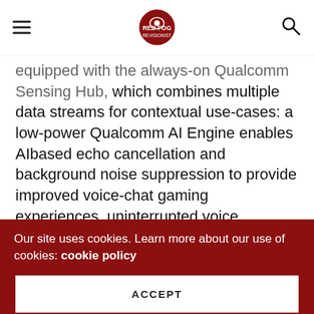[Red Fog Revisionist logo and navigation]
equipped with the always-on Qualcomm Sensing Hub, which combines multiple data streams for contextual use-cases: a low-power Qualcomm AI Engine enables AIbased echo cancellation and background noise suppression to provide improved voice-chat gaming experiences, uninterrupted voice communication, and support for always-on voice assistants.
Regardless of noises in the background such as construction, children, or a barking dog, listeners can hear speech loud and clear due to Qualcomm Technologies' AI-based audio and voice communication suite that is integrated into Snapdragon 750G.
Our site uses cookies. Learn more about our use of cookies: cookie policy
ACCEPT